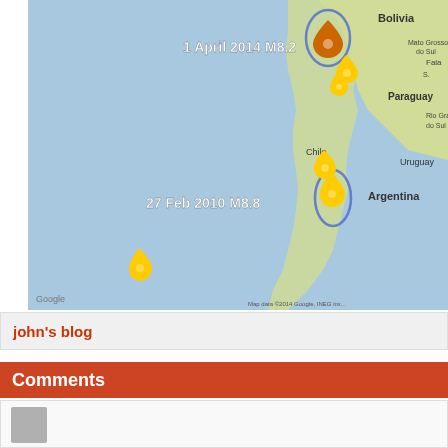[Figure (map): Google map showing the west coast of South America (Chile, Argentina, Bolivia, Paraguay, Uruguay) with earthquake markers: 1 April 2014 M8.2 near northern Chile/Peru border, and 27 Feb 2010 M8.8 near central Chile. Yellow map pins and blue ellipses mark earthquake epicenters and affected zones.]
john's blog
Comments
[Figure (photo): Gray avatar/profile photo placeholder in comment section]